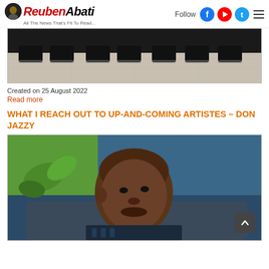Reuben Abati — All The News That's Fit To Read...
[Figure (photo): Photo showing feet/shoes of a group of people standing on a tiled floor]
Created on 25 August 2022
Read more
WHAT I REACH OUT TO UP-AND-COMING ARTISTES – DON JAZZY
[Figure (photo): Close-up portrait photo of Don Jazzy, a Nigerian music producer, seated on a sofa with greenery in the background]